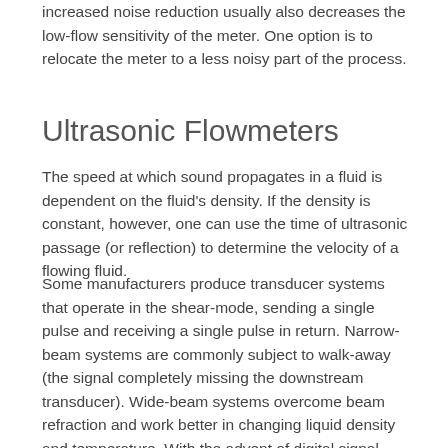increased noise reduction usually also decreases the low-flow sensitivity of the meter. One option is to relocate the meter to a less noisy part of the process.
Ultrasonic Flowmeters
The speed at which sound propagates in a fluid is dependent on the fluid's density. If the density is constant, however, one can use the time of ultrasonic passage (or reflection) to determine the velocity of a flowing fluid.
Some manufacturers produce transducer systems that operate in the shear-mode, sending a single pulse and receiving a single pulse in return. Narrow-beam systems are commonly subject to walk-away (the signal completely missing the downstream transducer). Wide-beam systems overcome beam refraction and work better in changing liquid density and temperature. With the advent of digital signal processing, it has become possible to apply digital signal coding to the transmitted signal. This can eliminate many of the problems associated with noise and variations in liquid chemistry.